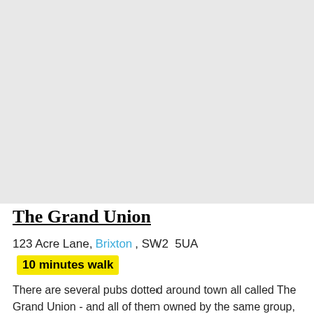[Figure (map): A map area showing a grey/light background map placeholder]
The Grand Union
123 Acre Lane, Brixton, SW2 5UA  10 minutes walk
There are several pubs dotted around town all called The Grand Union - and all of them owned by the same group, Canyon